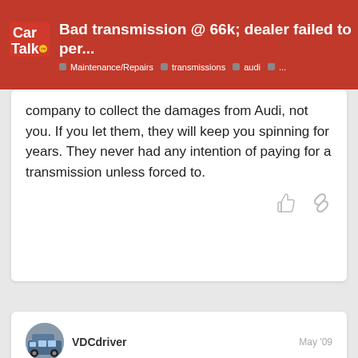Bad transmission @ 66k; dealer failed to per... | Maintenance/Repairs | transmissions | audi | ...
company to collect the damages from Audi, not you. If you let them, they will keep you spinning for years. They never had any intention of paying for a transmission unless forced to.
VDCdriver
May '09
I agree with Bing. One of the cardinal rules of car ownership... warranty... recommended... since...
[Figure (screenshot): Wolfoo LLC app ad popup with Wolfoo World Website text, app icon image, and Open button]